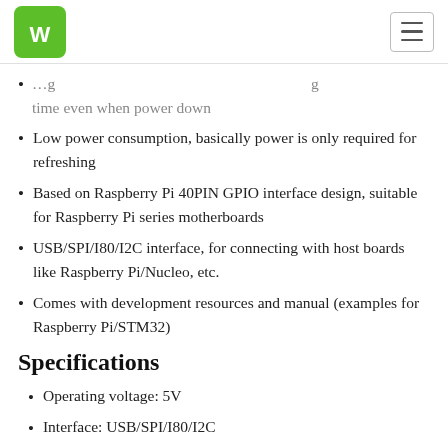Waveshare logo and navigation menu
time even when power down
Low power consumption, basically power is only required for refreshing
Based on Raspberry Pi 40PIN GPIO interface design, suitable for Raspberry Pi series motherboards
USB/SPI/I80/I2C interface, for connecting with host boards like Raspberry Pi/Nucleo, etc.
Comes with development resources and manual (examples for Raspberry Pi/STM32)
Specifications
Operating voltage: 5V
Interface: USB/SPI/I80/I2C
Outline dimension: 227.7mm × 165.8mm × 0.647mm